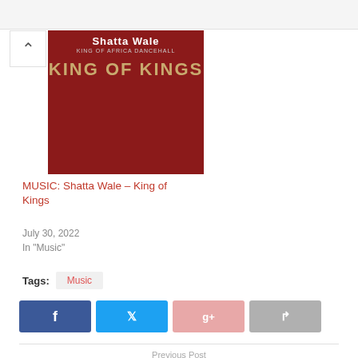[Figure (photo): Album art for Shatta Wale - King of Kings, dark red background with golden text]
MUSIC: Shatta Wale – King of Kings
July 30, 2022
In "Music"
Tags:  Music
[Figure (infographic): Social sharing buttons: Facebook, Twitter, Google+, Share]
Previous Post
MUSIC: King Passion Feat. Medikal And Sarkodie –